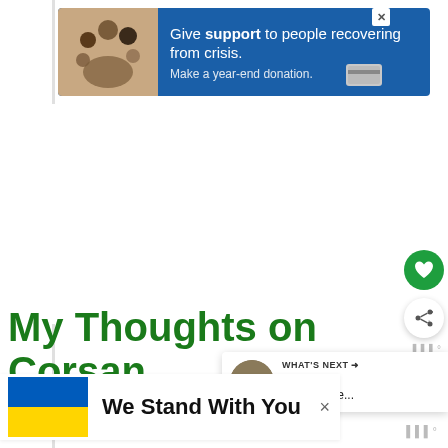[Figure (screenshot): Advertisement banner with blue background showing a family photo on the left and text 'Give support to people recovering from crisis. Make a year-end donation.' with a credit card icon on the right and an X close button.]
My Thoughts on Corsan
[Figure (screenshot): WHAT'S NEXT panel with thumbnail image and text 'Innovation Card Game...']
[Figure (screenshot): We Stand With You banner with Ukrainian flag (blue and yellow) and close X button]
We Stand With You